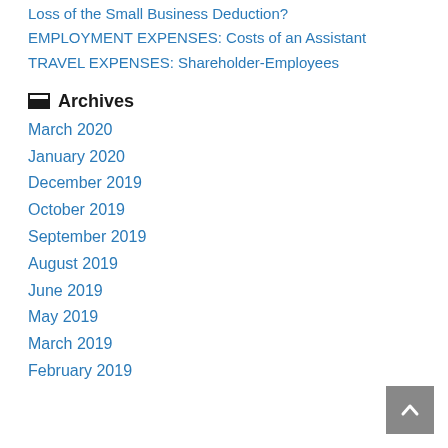Loss of the Small Business Deduction?
EMPLOYMENT EXPENSES: Costs of an Assistant
TRAVEL EXPENSES: Shareholder-Employees
Archives
March 2020
January 2020
December 2019
October 2019
September 2019
August 2019
June 2019
May 2019
March 2019
February 2019